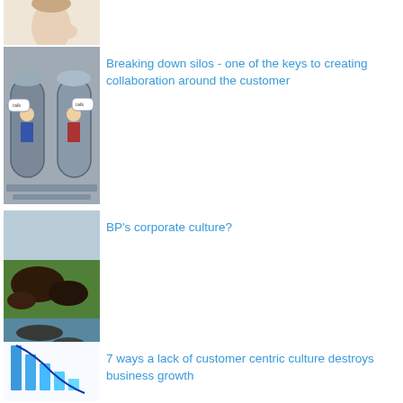[Figure (photo): Partial image of a person thinking, cropped at top of page]
[Figure (photo): Image of two silo-like structures with people inside speech bubbles]
Breaking down silos - one of the keys to creating collaboration around the customer
[Figure (photo): Aerial image of green landscape with dark patches, likely oil spill]
BP's corporate culture?
[Figure (bar-chart): Blue bar chart with declining bars and a downward curve line]
7 ways a lack of customer centric culture destroys business growth
[Figure (photo): Image of Home Depot store in China with Chinese characters]
Why Home Depot failed in China